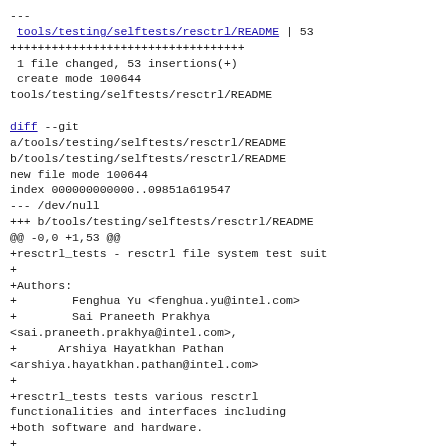---
 tools/testing/selftests/resctrl/README | 53
++++++++++++++++++++++++++++++++++
 1 file changed, 53 insertions(+)
 create mode 100644
tools/testing/selftests/resctrl/README

diff --git
a/tools/testing/selftests/resctrl/README
b/tools/testing/selftests/resctrl/README
new file mode 100644
index 000000000000..09851a619547
--- /dev/null
+++ b/tools/testing/selftests/resctrl/README
@@ -0,0 +1,53 @@
+resctrl_tests - resctrl file system test suit
+
+Authors:
+        Fenghua Yu <fenghua.yu@intel.com>
+        Sai Praneeth Prakhya
<sai.praneeth.prakhya@intel.com>,
+      Arshiya Hayatkhan Pathan
<arshiya.hayatkhan.pathan@intel.com>
+
+resctrl_tests tests various resctrl
functionalities and interfaces including
+both software and hardware.
+
+Currently it supports Memory Bandwidth Monitoring
test and Memory Bandwidth